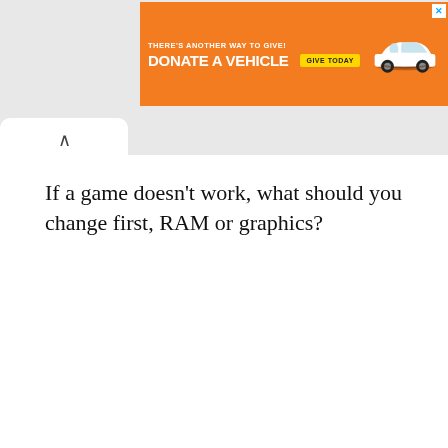[Figure (screenshot): Orange advertisement banner reading 'THERE'S ANOTHER WAY TO GIVE! DONATE A VEHICLE' with a 'GIVE TODAY' button and a car image on the right. Has an X close button in the top right corner.]
If a game doesn't work, what should you change first, RAM or graphics?